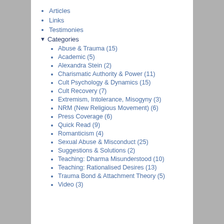Articles
Links
Testimonies
▾ Categories
Abuse & Trauma (15)
Academic (5)
Alexandra Stein (2)
Charismatic Authority & Power (11)
Cult Psychology & Dynamics (15)
Cult Recovery (7)
Extremism, Intolerance, Misogyny (3)
NRM (New Religious Movement) (6)
Press Coverage (6)
Quick Read (9)
Romanticism (4)
Sexual Abuse & Misconduct (25)
Suggestions & Solutions (2)
Teaching: Dharma Misunderstood (10)
Teaching: Rationalised Desires (13)
Trauma Bond & Attachment Theory (5)
Video (3)